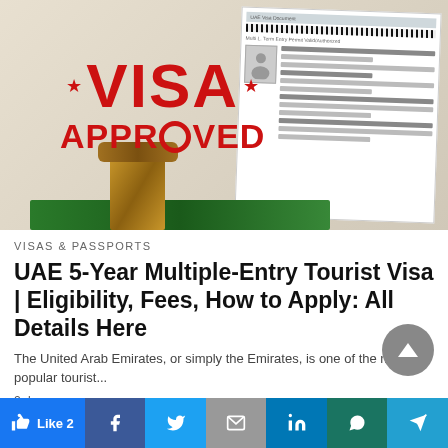[Figure (photo): UAE visa approved stamp image with red VISA APPROVED text over official visa document, rubber stamp handle visible, green fabric at bottom]
VISAS & PASSPORTS
UAE 5-Year Multiple-Entry Tourist Visa | Eligibility, Fees, How to Apply: All Details Here
The United Arab Emirates, or simply the Emirates, is one of the most popular tourist...
2 days ago